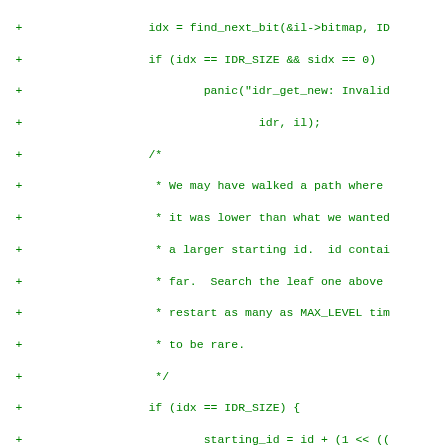[Figure (other): Source code diff showing C code additions (lines prefixed with '+') for IDR (ID Radix) tree implementation in the Linux kernel. Code includes find_next_bit calls, panic calls, comments about walked path logic, conditional checks for IDR_SIZE, starting_id assignments, goto statements, bitwise operations, and NULL checks for idr array entries.]